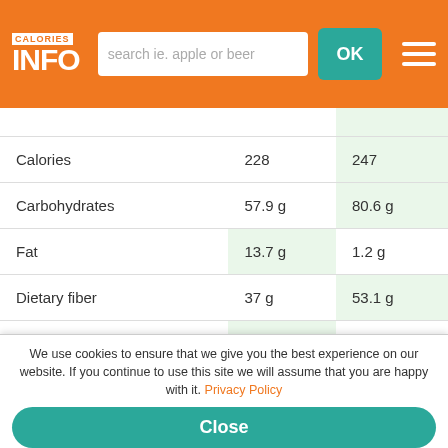CALORIES INFO — search ie. apple or beer — OK
|  | Col 1 | Col 2 |
| --- | --- | --- |
| Calories | 228 | 247 |
| Carbohydrates | 57.9 g | 80.6 g |
| Fat | 13.7 g | 1.2 g |
| Dietary fiber | 37 g | 53.1 g |
| Protein | 19.6 g | 4 g |
| Calcium | 128 mg | 1002 mg |
| Magnesium | 499 mg | 60 mg |
| Phosphorus | 2.5 mg | 64 mg |
We use cookies to ensure that we give you the best experience on our website. If you continue to use this site we will assume that you are happy with it. Privacy Policy
Close